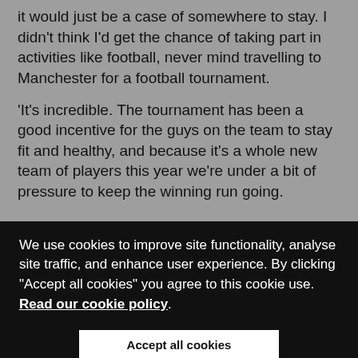it would just be a case of somewhere to stay. I didn't think I'd get the chance of taking part in activities like football, never mind travelling to Manchester for a football tournament.
'It's incredible. The tournament has been a good incentive for the guys on the team to stay fit and healthy, and because it's a whole new team of players this year we're under a bit of pressure to keep the winning run going.
We use cookies to improve site functionality, analyse site traffic, and enhance user experience. By clicking "Accept all cookies" you agree to this cookie use. Read our cookie policy.